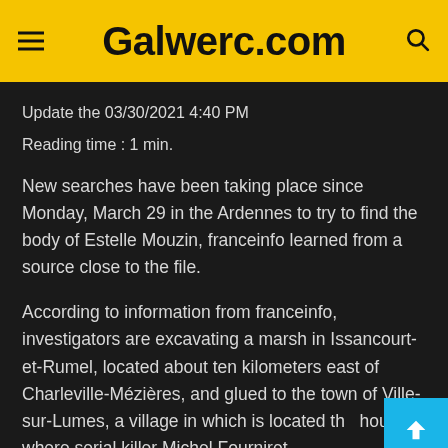Galwerc.com
Update the 03/30/2021 4:40 PM
Reading time : 1 min.
New searches have been taking place since Monday, March 29 in the Ardennes to try to find the body of Estelle Mouzin, franceinfo learned from a source close to the file.
According to information from franceinfo, investigators are excavating a marsh in Issancourt-et-Rumel, located about ten kilometers east of Charleville-Mézières, and glued to the town of Ville-sur-Lumes, a village in which is located the house where serial killer Michel Fourniret